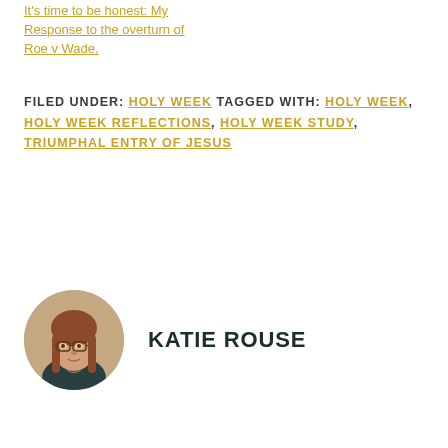It's time to be honest: My Response to the overturn of Roe v Wade.
FILED UNDER: HOLY WEEK TAGGED WITH: HOLY WEEK, HOLY WEEK REFLECTIONS, HOLY WEEK STUDY, TRIUMPHAL ENTRY OF JESUS
[Figure (photo): Circular portrait photo of Katie Rouse, a woman with long reddish-brown hair and glasses, wearing a dark top.]
KATIE ROUSE